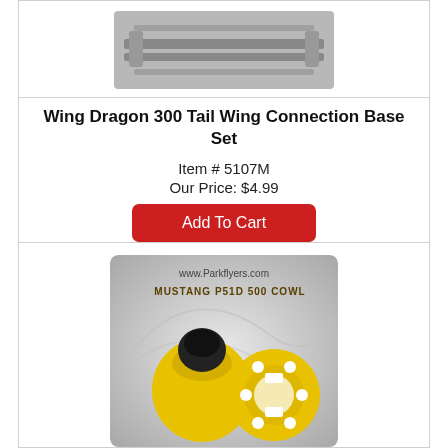[Figure (photo): Wing Dragon 300 tail wing connection base set parts in blister packaging]
Wing Dragon 300 Tail Wing Connection Base Set
Item # 5107M
Our Price: $4.99
Add To Cart
[Figure (photo): Mustang P51D 500 Cowl product image showing yellow cowl parts with black nose cone, from www.Parkflyers.com]